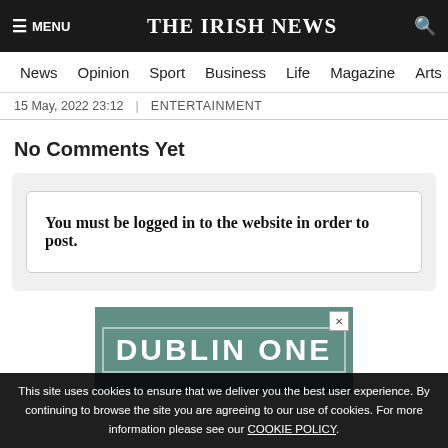THE IRISH NEWS
News  Opinion  Sport  Business  Life  Magazine  Arts
15 May, 2022 23:12  |  ENTERTAINMENT
No Comments Yet
You must be logged in to the website in order to post.
[Figure (screenshot): Advertisement banner with teal/green background showing text 'DUBLIN ONE' in large white bold letters inside a white border rectangle, with a close (X) button in the top right corner.]
This site uses cookies to ensure that we deliver you the best user experience. By continuing to browse the site you are agreeing to our use of cookies. For more information please see our COOKIE POLICY.